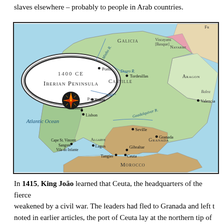slaves elsewhere – probably to people in Arab countries.
[Figure (map): Map of the Iberian Peninsula circa 1400 CE showing regions including Galicia, Portugal, Castille, Navarre, Aragon, Granada, Morocco, and cities such as Lisbon, Seville, Gibraltar, Ceuta, Tangier, Porto, Tomar, Tordesillas, Valencia, Lagos, Sintra, and Cape St. Vincent/Sangres/Vila do Infante. Rivers labeled include Minho R., Douro R., Tagus, and Guadalquiver R. Atlantic Ocean labeled on the left. Compass rose in lower left. Title oval reads '1400 CE Iberian Peninsula'.]
In 1415, King João learned that Ceuta, the headquarters of the fierce weakened by a civil war. The leaders had fled to Granada and left t noted in earlier articles, the port of Ceuta lay at the northern tip of A